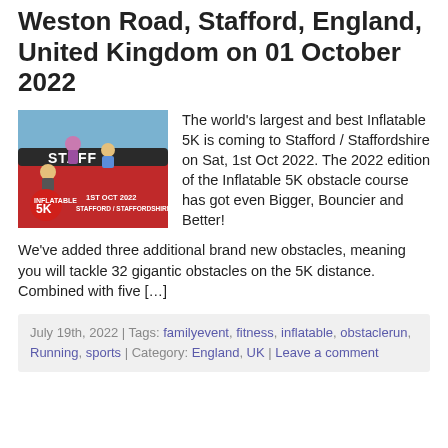Weston Road, Stafford, England, United Kingdom on 01 October 2022
[Figure (photo): Promotional image for Inflatable 5K event at Stafford / Staffordshire on 1st Oct 2022, showing people on inflatable obstacles with event branding]
The world's largest and best Inflatable 5K is coming to Stafford / Staffordshire on Sat, 1st Oct 2022. The 2022 edition of the Inflatable 5K obstacle course has got even Bigger, Bouncier and Better!
We've added three additional brand new obstacles, meaning you will tackle 32 gigantic obstacles on the 5K distance. Combined with five […]
July 19th, 2022 | Tags: familyevent, fitness, inflatable, obstaclerun, Running, sports | Category: England, UK | Leave a comment